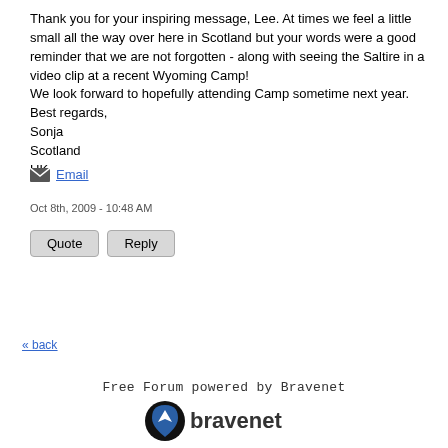Thank you for your inspiring message, Lee. At times we feel a little small all the way over here in Scotland but your words were a good reminder that we are not forgotten - along with seeing the Saltire in a video clip at a recent Wyoming Camp!
We look forward to hopefully attending Camp sometime next year.
Best regards,
Sonja
Scotland
UK
Email
Oct 8th, 2009 - 10:48 AM
Quote   Reply
« back
Free Forum powered by Bravenet
[Figure (logo): Bravenet logo: circular black and dark blue shield/arrow icon with 'bravenet' text in dark gray next to it]